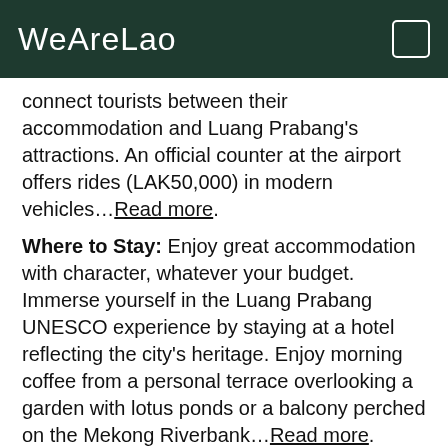WeAreLao
connect tourists between their accommodation and Luang Prabang's attractions. An official counter at the airport offers rides (LAK50,000) in modern vehicles…Read more.
Where to Stay: Enjoy great accommodation with character, whatever your budget. Immerse yourself in the Luang Prabang UNESCO experience by staying at a hotel reflecting the city's heritage. Enjoy morning coffee from a personal terrace overlooking a garden with lotus ponds or a balcony perched on the Mekong Riverbank…Read more.
Travel Guide: It's easy to navigate Laos' #1 tourism city, from getting to Luang Prabang to its hotels, restaurants, and transportation to the many sites. Luang Prabang wears the crown as the top tourist destination in Laos. The UNESCO World Heritage City remains rooted in its past as the Lane Xang Kingdom's capital and…Read more.